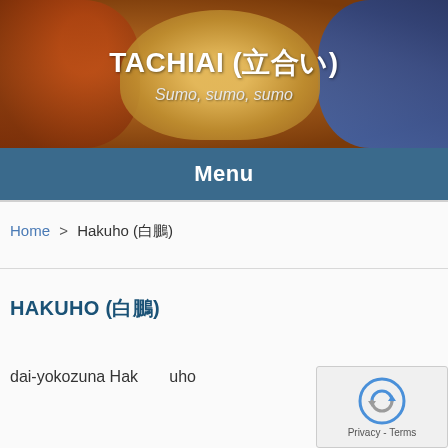TACHIAI (立合い) — Sumo, sumo, sumo
Menu
Home > Hakuho (白鵬)
HAKUHO (白鵬)
dai-yokozuna Hakuho